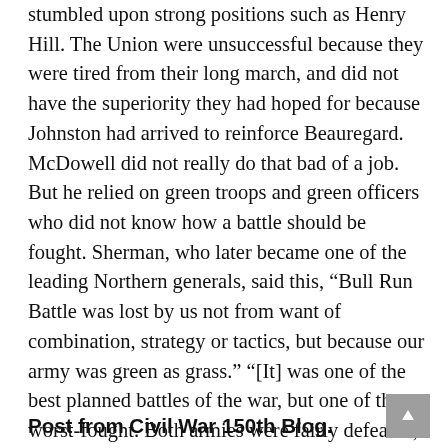stumbled upon strong positions such as Henry Hill. The Union were unsuccessful because they were tired from their long march, and did not have the superiority they had hoped for because Johnston had arrived to reinforce Beauregard. McDowell did not really do that bad of a job. But he relied on green troops and green officers who did not know how a battle should be fought. Sherman, who later became one of the leading Northern generals, said this, “Bull Run Battle was lost by us not from want of combination, strategy or tactics, but because our army was green as grass.” “[It] was one of the best planned battles of the war, but one of the worst-fought. Both armies were fairly defeated, and whichever stood fast the other would have run.”
Post from Civil War 150th Blog.